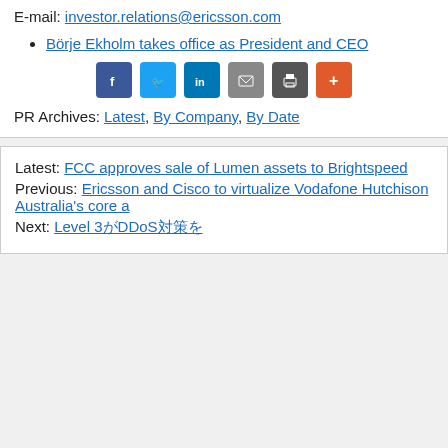E-mail: investor.relations@ericsson.com
Börje Ekholm takes office as President and CEO
[Figure (other): Social share buttons: Facebook, Twitter, LinkedIn, Email, Print, More]
PR Archives: Latest, By Company, By Date
Latest: FCC approves sale of Lumen assets to Brightspeed
Previous: Ericsson and Cisco to virtualize Vodafone Hutchison Australia's core a…
Next: Level 3がDDoS対策を